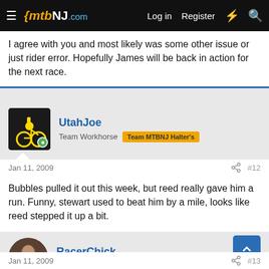mtbNJ.com — Log in | Register
I agree with you and most likely was some other issue or just rider error. Hopefully James will be back in action for the next race.
UtahJoe
Team Workhorse  Team MTBNJ Halter's
Jan 11, 2009  #12
Bubbles pulled it out this week, but reed really gave him a run. Funny, stewart used to beat him by a mile, looks like reed stepped it up a bit.
RacerChick
Hudson Valley Girl
Jan 11, 2009  #13